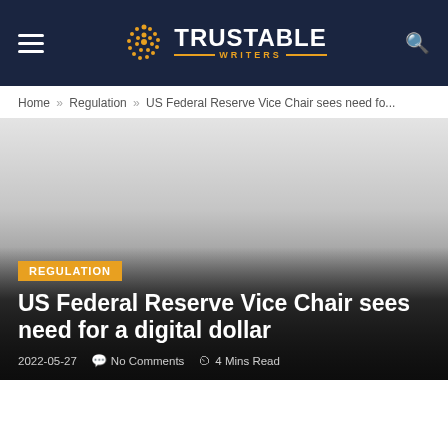TRUSTABLE WRITERS
Home » Regulation » US Federal Reserve Vice Chair sees need fo...
REGULATION
US Federal Reserve Vice Chair sees need for a digital dollar
2022-05-27   No Comments   4 Mins Read